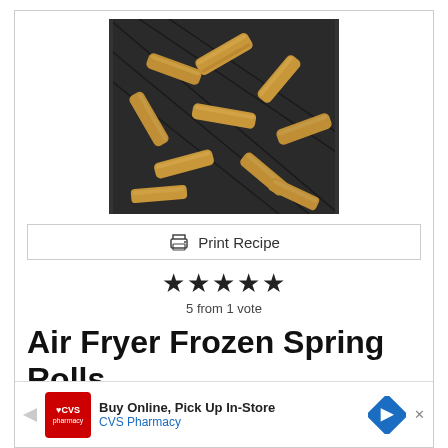[Figure (photo): Aerial view of frozen spring rolls in an air fryer basket, golden-brown and arranged in a circular pattern on a dark mesh rack.]
Print Recipe
★★★★★ 5 from 1 vote
Air Fryer Frozen Spring Rolls
Air Fryer Frozen Spring Rolls. How to cook frozen spring rolls in air fryer. Works with any spring roll filli
Buy Online, Pick Up In-Store CVS Pharmacy